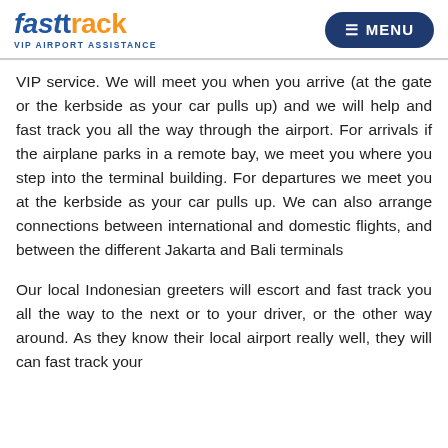fasttrack VIP AIRPORT ASSISTANCE | MENU
VIP service. We will meet you when you arrive (at the gate or the kerbside as your car pulls up) and we will help and fast track you all the way through the airport. For arrivals if the airplane parks in a remote bay, we meet you where you step into the terminal building. For departures we meet you at the kerbside as your car pulls up. We can also arrange connections between international and domestic flights, and between the different Jakarta and Bali terminals
Our local Indonesian greeters will escort and fast track you all the way to the next or to your driver, or the other way around. As they know their local airport really well, they will can fast track your